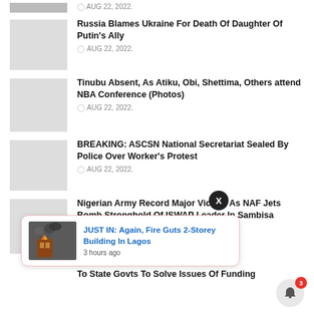AUG 22, 2022.
Russia Blames Ukraine For Death Of Daughter Of Putin's Ally — AUG 22, 2022.
Tinubu Absent, As Atiku, Obi, Shettima, Others attend NBA Conference (Photos) — AUG 22, 2022.
BREAKING: ASCSN National Secretariat Sealed By Police Over Worker's Protest — AUG 22, 2022.
Nigerian Army Record Major Victory As NAF Jets Bomb Stronghold Of ISWAP Leader In Sambisa
...Will Be Ha... To State Govts To Solve Issues Of Funding
[Figure (other): Popup notification: JUST IN: Again, Fire Guts 2-Storey Building In Lagos — 3 hours ago, with fire/smoke building image thumbnail]